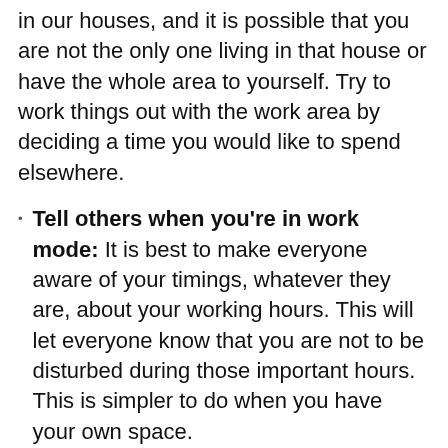in our houses, and it is possible that you are not the only one living in that house or have the whole area to yourself. Try to work things out with the work area by deciding a time you would like to spend elsewhere.
Tell others when you're in work mode: It is best to make everyone aware of your timings, whatever they are, about your working hours. This will let everyone know that you are not to be disturbed during those important hours. This is simpler to do when you have your own space.
Try not to make such a large number of rules for what to do and when: Except if you truly prefer to live by rules (as a few people do).